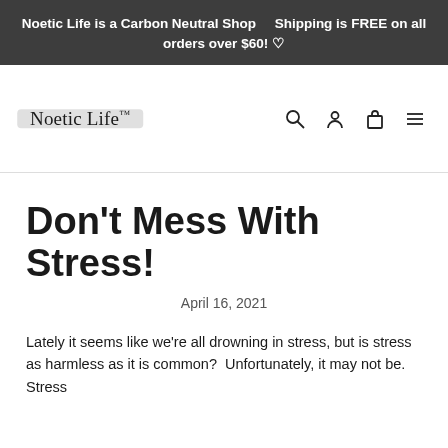Noetic Life is a Carbon Neutral Shop    Shipping is FREE on all orders over $60! ♡
[Figure (logo): Noetic Life™ logo with grey brushstroke highlight background]
Don't Mess With Stress!
April 16, 2021
Lately it seems like we're all drowning in stress, but is stress as harmless as it is common?  Unfortunately, it may not be.  Stress